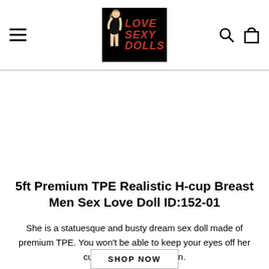[Figure (logo): Love Sexy Dolls logo — black background with red italic text 'LOVE SEXY DOLLS' and a stylized female figure illustration]
5ft Premium TPE Realistic H-cup Breast Men Sex Love Doll ID:152-01
She is a statuesque and busty dream sex doll made of premium TPE. You won't be able to keep your eyes off her curves and fine definition.